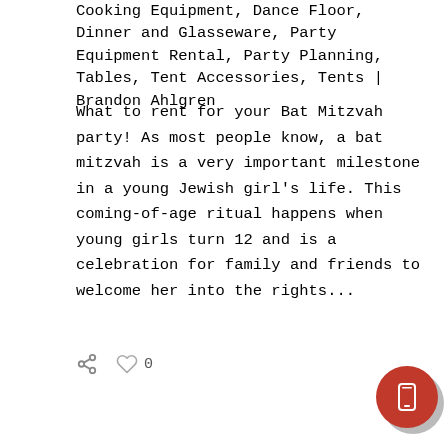Cooking Equipment, Dance Floor, Dinner and Glasseware, Party Equipment Rental, Party Planning, Tables, Tent Accessories, Tents | Brandon Ahlgren
What to rent for your Bat Mitzvah party! As most people know, a bat mitzvah is a very important milestone in a young Jewish girl’s life. This coming-of-age ritual happens when young girls turn 12 and is a celebration for family and friends to welcome her into the rights...
0
READ MORE